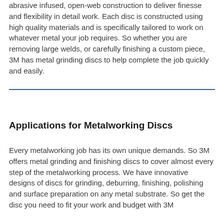abrasive infused, open-web construction to deliver finesse and flexibility in detail work. Each disc is constructed using high quality materials and is specifically tailored to work on whatever metal your job requires. So whether you are removing large welds, or carefully finishing a custom piece, 3M has metal grinding discs to help complete the job quickly and easily.
Applications for Metalworking Discs
Every metalworking job has its own unique demands. So 3M offers metal grinding and finishing discs to cover almost every step of the metalworking process. We have innovative designs of discs for grinding, deburring, finishing, polishing and surface preparation on any metal substrate. So get the disc you need to fit your work and budget with 3M